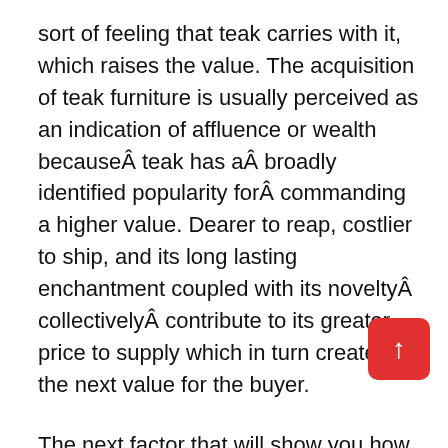sort of feeling that teak carries with it, which raises the value. The acquisition of teak furniture is usually perceived as an indication of affluence or wealth becauseÂ teak has aÂ broadly identified popularity forÂ commanding a higher value. Dearer to reap, costlier to ship, and its long lasting enchantment coupled with its noveltyÂ collectivelyÂ contribute to its greater price to supply which in turn creates the next value for the buyer.
The next factor that will show you how to inform if a piece of furniture is real teak furniture or not is the smell. Many issues have a distinct odor. Leather in a new automobile is an effective instance of a kind of scents that you know is the true factor as soon because it hits your nostril. In the case of teak furniture, you'll sme very mild fragrant odor, coming from the wooden. It is an earthy odor, however one that's totally different from